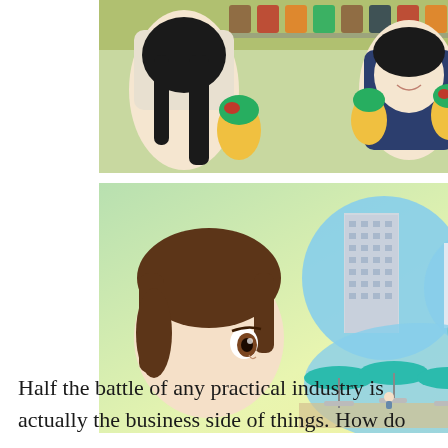[Figure (illustration): Anime scene showing two characters holding yellow-wrapped food items (like wraps or cones filled with vegetables), with colorful jars in the background on a shelf.]
[Figure (illustration): Anime scene showing a close-up of a brown-haired character looking at three circular inset images: a tall office building, a smaller white office building, and an outdoor cafe/restaurant with teal umbrellas.]
Half the battle of any practical industry is actually the business side of things. How do